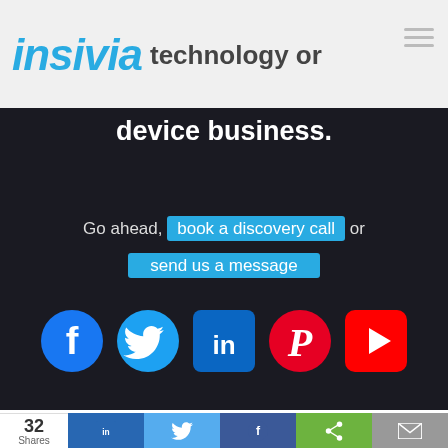insivia technology or
device business.
Go ahead, book a discovery call or send us a message
[Figure (screenshot): Row of five social media icons: Facebook (blue circle with f), Twitter (blue bird), LinkedIn (blue square with in), Pinterest (red circle with P), YouTube (red rounded rectangle with play button)]
Looking for SaaS focused services?
32 Shares — LinkedIn, Twitter, Facebook, Share, Email buttons